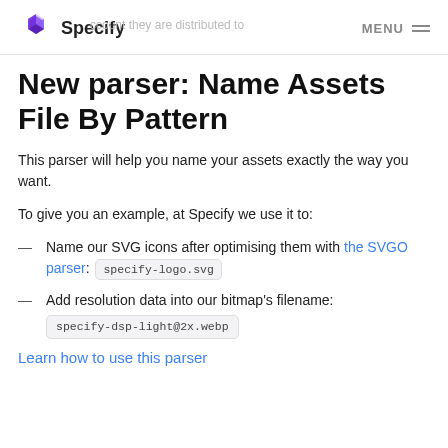Specify  MENU
New parser: Name Assets File By Pattern
This parser will help you name your assets exactly the way you want.
To give you an example, at Specify we use it to:
Name our SVG icons after optimising them with the SVGO parser: specify-logo.svg
Add resolution data into our bitmap's filename: specify-dsp-light@2x.webp
Learn how to use this parser